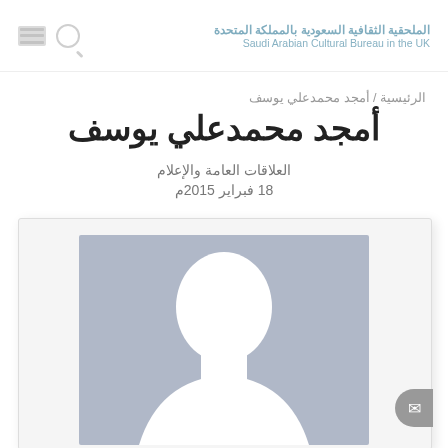Saudi Arabian Cultural Bureau in the UK
الرئيسية / أمجد محمدعلي يوسف
أمجد محمدعلي يوسف
العلاقات العامة والإعلام
18 فبراير 2015م
[Figure (illustration): Default user profile avatar silhouette on a grey-blue background, showing a white person-shaped silhouette (head and partial torso)]